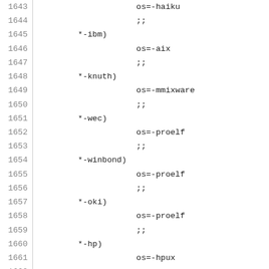Code listing lines 1643-1665 showing shell script case statement entries for various vendor patterns (*-ibm, *-knuth, *-wec, *-winbond, *-oki, *-hp, *-hitachi) with corresponding os= assignments and ;; terminators